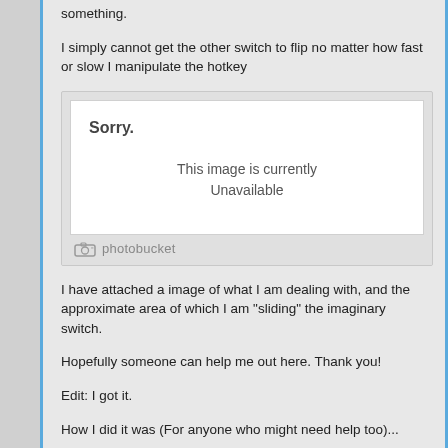something.
I simply cannot get the other switch to flip no matter how fast or slow I manipulate the hotkey
[Figure (screenshot): Photobucket image placeholder showing 'Sorry. This image is currently Unavailable' with Photobucket logo at bottom]
I have attached a image of what I am dealing with, and the approximate area of which I am "sliding" the imaginary switch.
Hopefully someone can help me out here. Thank you!
Edit: I got it.
How I did it was (For anyone who might need help too)...
With the game paused, both switches on the same side, I slid my stylus up the orange parts of the switches (on the right most side of the switch itself), while rapidly touching the frame